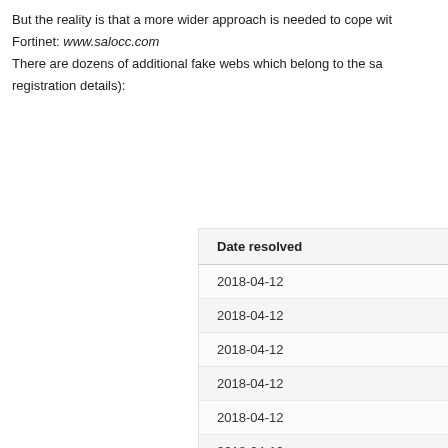But the reality is that a more wider approach is needed to cope with Fortinet: www.salocc.com
There are dozens of additional fake webs which belong to the same registration details):
| Date resolved |
| --- |
| 2018-04-12 |
| 2018-04-12 |
| 2018-04-12 |
| 2018-04-12 |
| 2018-04-12 |
| 2018-04-12 |
| 2018-04-11 |
| 2018-04-10 |
| 2018-04-10 |
| 2018-04-10 |
| 2018-04-10 |